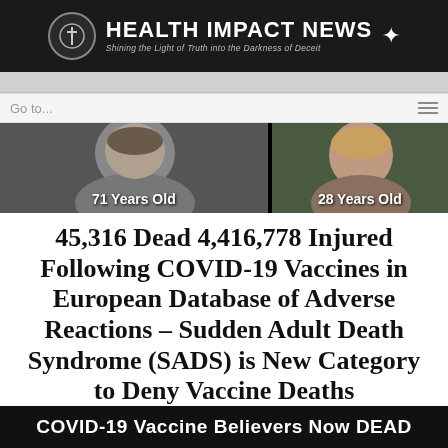HEALTH IMPACT NEWS — Shining the Light of Truth into the Darkness of Deceit
[Figure (photo): Two photos side by side: left shows an older man labeled '71 Years Old', right shows a younger woman labeled '28 Years Old', both on black background]
45,316 Dead 4,416,778 Injured Following COVID-19 Vaccines in European Database of Adverse Reactions – Sudden Adult Death Syndrome (SADS) is New Category to Deny Vaccine Deaths
COVID-19 Vaccine Believers Now DEAD